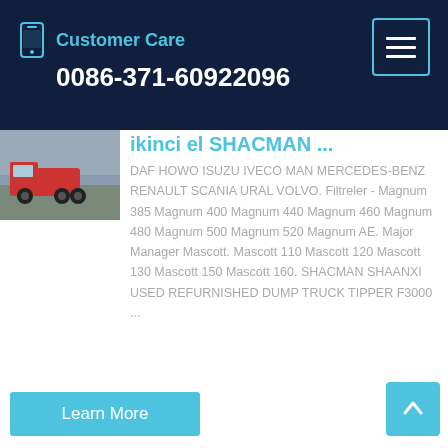Customer Care 0086-371-60922096
[Figure (photo): Thumbnail photo of a red dump truck or heavy vehicle on a road]
ikinci el SHACMAN ...
DAF HOWO ISUZU IVECO MAN MERCEDES-BENZ RENAULT SCANIA URAL VOLVO. Filtreler - Magnum 385 Magnum 400 Magnum 440 Magnum 460 Magnum 480 Magnum 500 Magnum 520 Magnum AE. Major Manager Mascott. Mascott 110 Mascott 120 Mascott 130 Mascott 150 Mascott 160. SHACMAN SHAANXI USED REFURNISHED DUMP TRUCK TIPPER F3000 ...
Learn More